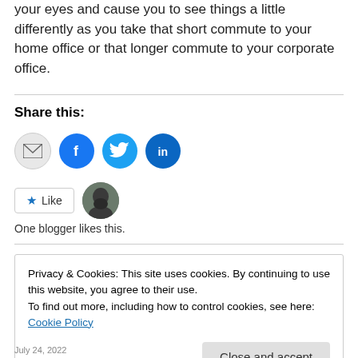your eyes and cause you to see things a little differently as you take that short commute to your home office or that longer commute to your corporate office.
Share this:
[Figure (infographic): Social share buttons: email (grey circle), Facebook (blue circle with f), Twitter (blue circle with bird), LinkedIn (dark blue circle with in)]
[Figure (infographic): Like button with star icon and blogger avatar photo. Text: One blogger likes this.]
Privacy & Cookies: This site uses cookies. By continuing to use this website, you agree to their use. To find out more, including how to control cookies, see here: Cookie Policy
July 24, 2022